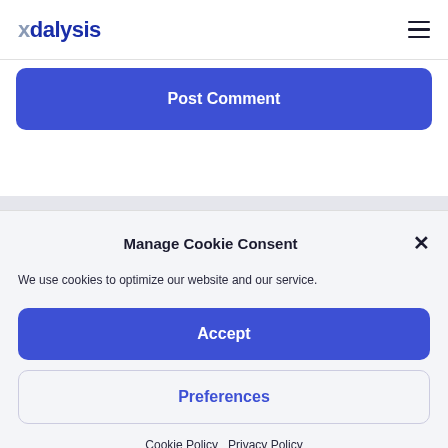Adalysis
Post Comment
Manage Cookie Consent
We use cookies to optimize our website and our service.
Accept
Preferences
Cookie Policy   Privacy Policy